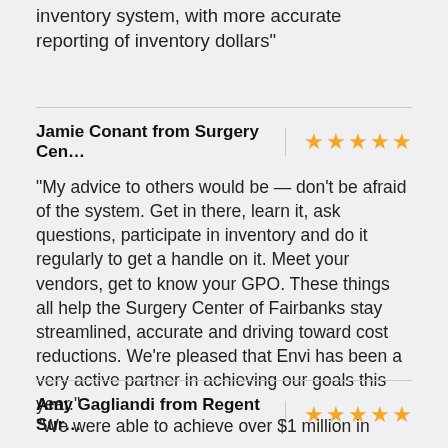accuracy. We've created a more accurate inventory system, with more accurate reporting of inventory dollars"
Jamie Conant from Surgery Cen… ★★★★★
"My advice to others would be — don't be afraid of the system. Get in there, learn it, ask questions, participate in inventory and do it regularly to get a handle on it. Meet your vendors, get to know your GPO. These things all help the Surgery Center of Fairbanks stay streamlined, accurate and driving toward cost reductions. We're pleased that Envi has been a very active partner in achieving our goals this year."
Amy Gagliandi from Regent Sur… ★★★★★
"We were able to achieve over $1 million in